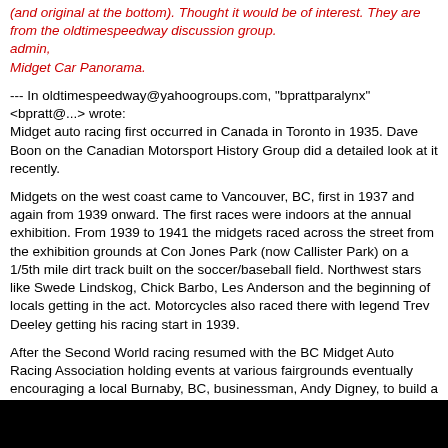(and original at the bottom). Thought it would be of interest. They are from the oldtimespeedway discussion group.
admin,
Midget Car Panorama.
--- In oldtimespeedway@yahoogroups.com, "bprattparalynx" <bpratt@...> wrote:
Midget auto racing first occurred in Canada in Toronto in 1935. Dave Boon on the Canadian Motorsport History Group did a detailed look at it recently.
Midgets on the west coast came to Vancouver, BC, first in 1937 and again from 1939 onward. The first races were indoors at the annual exhibition. From 1939 to 1941 the midgets raced across the street from the exhibition grounds at Con Jones Park (now Callister Park) on a 1/5th mile dirt track built on the soccer/baseball field. Northwest stars like Swede Lindskog, Chick Barbo, Les Anderson and the beginning of locals getting in the act. Motorcycles also raced there with legend Trev Deeley getting his racing start in 1939.
After the Second World racing resumed with the BC Midget Auto Racing Association holding events at various fairgrounds eventually encouraging a local Burnaby, BC, businessman, Andy Digney, to build a 1/4 mile paved oval, Digney Speedway. Again, northwest stars like Shorty Templeman and others raced. Local car owner/builder Gordon Reelie was very involved.